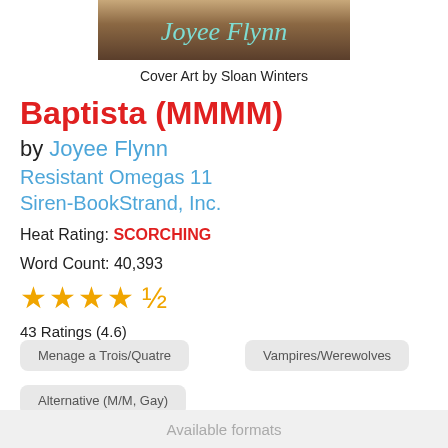[Figure (illustration): Partial book cover image showing 'Joyee Flynn' text in teal cursive script against a warm brown/tan background with partial animal figures]
Cover Art by Sloan Winters
Baptista (MMMM)
by Joyee Flynn
Resistant Omegas 11
Siren-BookStrand, Inc.
Heat Rating: SCORCHING
Word Count: 40,393
[Figure (other): Star rating: 4.5 stars out of 5 (4 full stars and 1 half star displayed in orange)]
43 Ratings (4.6)
Menage a Trois/Quatre
Vampires/Werewolves
Alternative (M/M, Gay)
Available formats